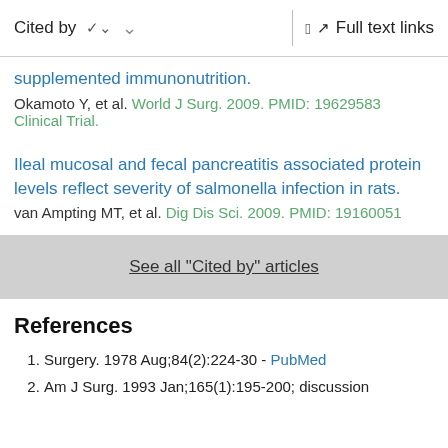Cited by  ∨   Full text links
supplemented immunonutrition.
Okamoto Y, et al. World J Surg. 2009. PMID: 19629583 Clinical Trial.
Ileal mucosal and fecal pancreatitis associated protein levels reflect severity of salmonella infection in rats.
van Ampting MT, et al. Dig Dis Sci. 2009. PMID: 19160051
See all "Cited by" articles
References
Surgery. 1978 Aug;84(2):224-30 - PubMed
Am J Surg. 1993 Jan;165(1):195-200; discussion